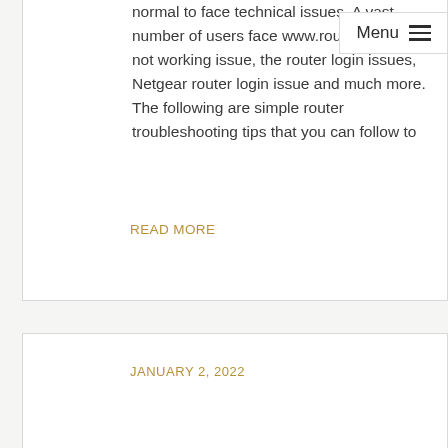normal to face technical issues. A vast number of users face www.routerlogin.net not working issue, the router login issues, Netgear router login issue and much more. The following are simple router troubleshooting tips that you can follow to
READ MORE
JANUARY 2, 2022